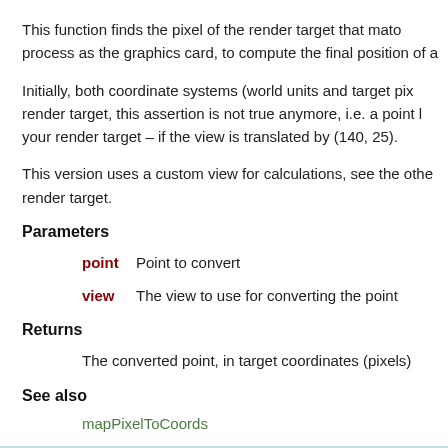This function finds the pixel of the render target that mato process as the graphics card, to compute the final position of a
Initially, both coordinate systems (world units and target pix render target, this assertion is not true anymore, i.e. a point l your render target – if the view is translated by (140, 25).
This version uses a custom view for calculations, see the othe render target.
Parameters
point Point to convert
view  The view to use for converting the point
Returns
The converted point, in target coordinates (pixels)
See also
mapPixelToCoords